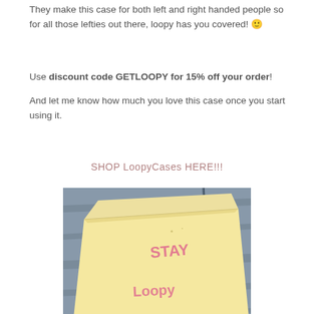They make this case for both left and right handed people so for all those lefties out there, loopy has you covered! 🙂
Use discount code GETLOOPY for 15% off your order! And let me know how much you love this case once you start using it.
SHOP LoopyCases HERE!!!
[Figure (photo): A yellow padded mailer envelope on a blue/grey wooden surface, with 'STAY Loopy!' written on it in pink handwriting.]